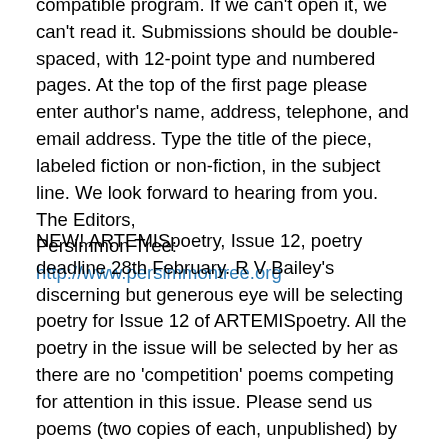compatible program. If we can't open it, we can't read it. Submissions should be double-spaced, with 12-point type and numbered pages. At the top of the first page please enter author's name, address, telephone, and email address. Type the title of the piece, labeled fiction or non-fiction, in the subject line. We look forward to hearing from you. The Editors,
Persimmon Tree: http://www.persimmontree.org
NEW! ARTEMISpoetry, Issue 12, poetry deadline 28th February. R V Bailey's discerning but generous eye will be selecting poetry for Issue 12 of ARTEMISpoetry. All the poetry in the issue will be selected by her as there are no 'competition' poems competing for attention in this issue. Please send us poems (two copies of each, unpublished) by the 28 FEBRUARY deadline. It is quite in order to send poems already submitted for Her Wings of Glass. Please